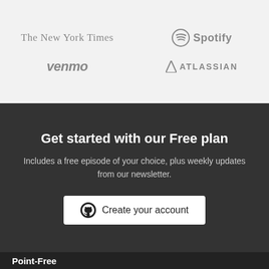[Figure (logo): The New York Times logo in grey serif font]
[Figure (logo): Spotify logo with circular icon and wordmark in grey]
[Figure (logo): Venmo logo in bold italic grey font]
[Figure (logo): Atlassian logo with triangle icon and wordmark in grey]
Get started with our Free plan
Includes a free episode of your choice, plus weekly updates from our newsletter.
[Figure (screenshot): Create your account button with GitHub icon]
Point-Free